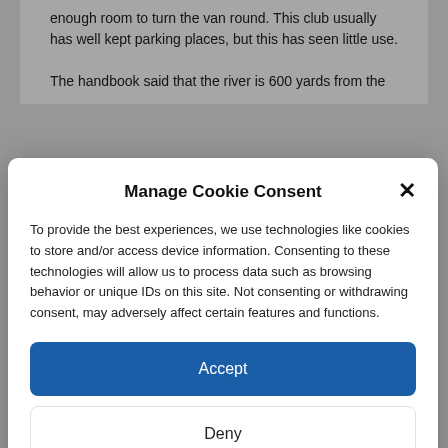enough room to turn the van round. This club usually has well kept parking places, but this has seen little use.
The handbook said that the river is 600 yards from the
Manage Cookie Consent
To provide the best experiences, we use technologies like cookies to store and/or access device information. Consenting to these technologies will allow us to process data such as browsing behavior or unique IDs on this site. Not consenting or withdrawing consent, may adversely affect certain features and functions.
Accept
Deny
View preferences
Cookie Policy